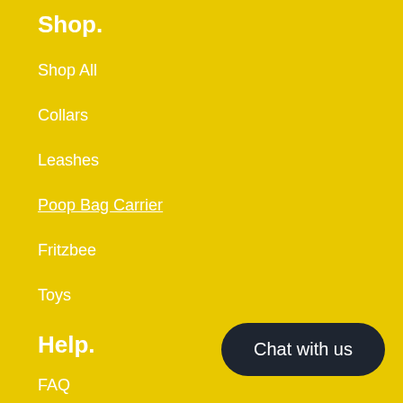Shop.
Shop All
Collars
Leashes
Poop Bag Carrier
Fritzbee
Toys
Help.
FAQ
Chat with us